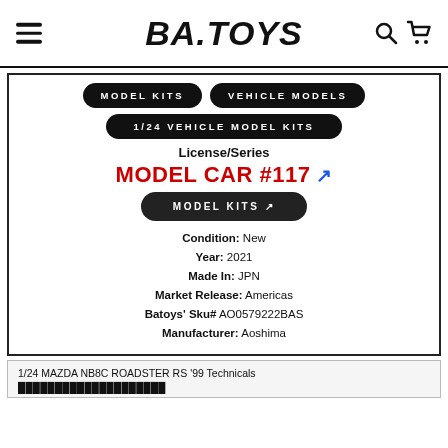BA.TOYS
MODEL KITS
VEHICLE MODELS
1/24 VEHICLE MODEL KITS
License/Series
MODEL CAR #117 ↗
MODEL KITS ↗
Condition: New
Year: 2021
Made In: JPN
Market Release: Americas
Batoys' Sku# AO0579222BAS
Manufacturer: Aoshima
1/24 MAZDA NB8C ROADSTER RS '99 Technicals